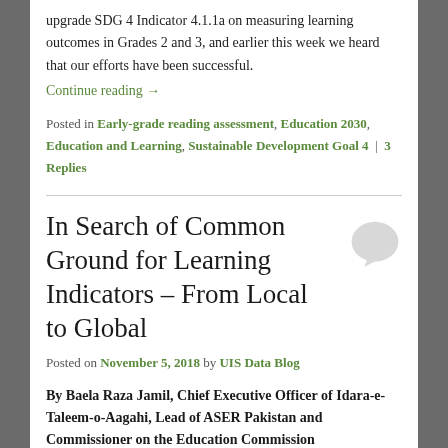upgrade SDG 4 Indicator 4.1.1a on measuring learning outcomes in Grades 2 and 3, and earlier this week we heard that our efforts have been successful.
Continue reading →
Posted in Early-grade reading assessment, Education 2030, Education and Learning, Sustainable Development Goal 4 | 3 Replies
In Search of Common Ground for Learning Indicators – From Local to Global
Posted on November 5, 2018 by UIS Data Blog
By Baela Raza Jamil, Chief Executive Officer of Idara-e-Taleem-o-Aagahi, Lead of ASER Pakistan and Commissioner on the Education Commission